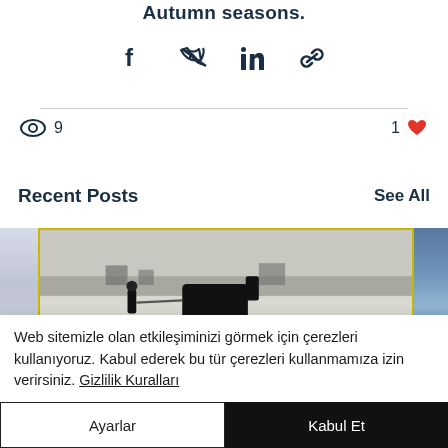Autumn seasons.
[Figure (infographic): Social share icons: Facebook, Twitter, LinkedIn, Link]
9 views  1 like
Recent Posts
See All
[Figure (photo): Left partial photo strip - light colored]
[Figure (photo): Center photo with gold border showing a winter scene with a horse and person on a frozen lake]
[Figure (photo): Right partial photo strip - blue ice pattern]
Web sitemizle olan etkileşiminizi görmek için çerezleri kullanıyoruz. Kabul ederek bu tür çerezleri kullanmamıza izin verirsiniz. Gizlilik Kuralları
Ayarlar
Kabul Et